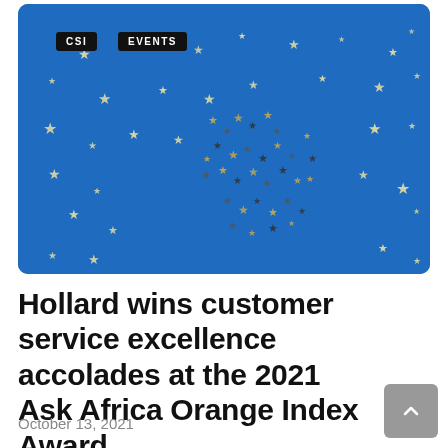[Figure (photo): Blue background with scattered gold and silver star confetti pieces spread across the surface]
Hollard wins customer service excellence accolades at the 2021 Ask Africa Orange Index Award
October 13, 2021